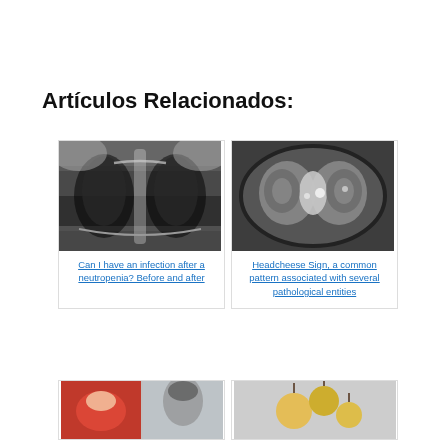Artículos Relacionados:
[Figure (photo): Chest X-ray showing lung fields]
Can I have an infection after a neutropenia? Before and after
[Figure (photo): CT scan of thorax showing headcheese sign pattern in lungs]
Headcheese Sign, a common pattern associated with several pathological entities
[Figure (photo): Partial view of related article image (bottom left)]
[Figure (photo): Partial view of related article image (bottom right)]